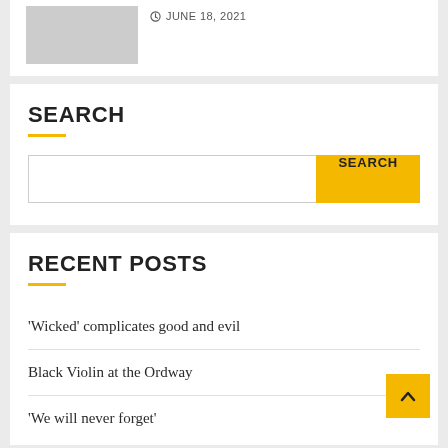[Figure (photo): Gray placeholder thumbnail image]
JUNE 18, 2021
SEARCH
Search input field with SEARCH button
RECENT POSTS
‘Wicked’ complicates good and evil
Black Violin at the Ordway
‘We will never forget’